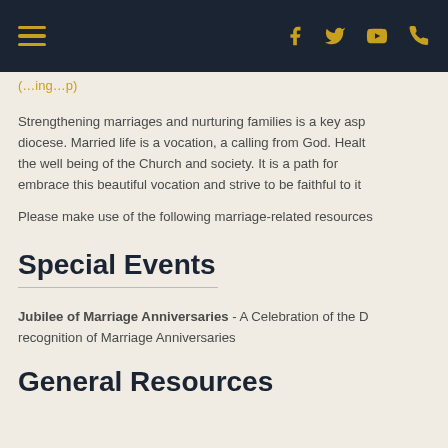Navigation bar with hamburger menu and social icons (Facebook, Twitter, YouTube, Phone)
(…ing…p)
Strengthening marriages and nurturing families is a key asp… diocese. Married life is a vocation, a calling from God. Healt… the well being of the Church and society. It is a path for… embrace this beautiful vocation and strive to be faithful to it…
Please make use of the following marriage-related resources…
Special Events
Jubilee of Marriage Anniversaries - A Celebration of the D… recognition of Marriage Anniversaries
General Resources